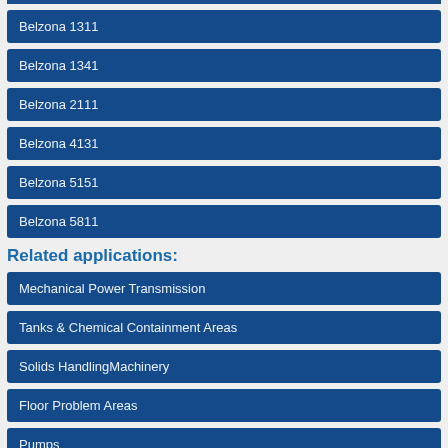Belzona 1311
Belzona 1341
Belzona 2111
Belzona 4131
Belzona 5151
Belzona 5811
Related applications:
Mechanical Power Transmission
Tanks & Chemical Containment Areas
Solids HandlingMachinery
Floor Problem Areas
Pumps
Related content: